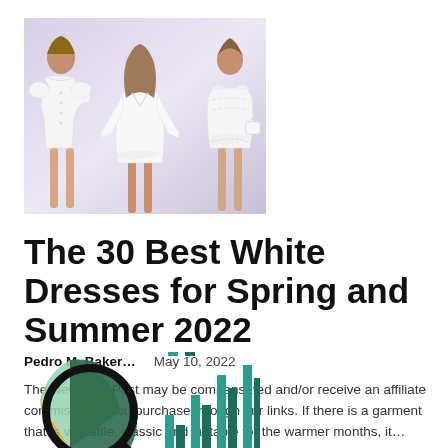[Figure (photo): Three women wearing white dresses posed against a light lavender/white background. The dresses include an off-shoulder mini dress, a long-sleeve bohemian style dress, and a strapless lace mini dress.]
The 30 Best White Dresses for Spring and Summer 2022
Pedro M. Baker…    May 10, 2022
The New York Post may be compensated and/or receive an affiliate commission if you purchase through our links. If there is a garment that is versatile, classic and suitable for the warmer months, it…
[Figure (infographic): Partial view of an infographic showing a pie chart with green, tan, and dark sections on the left, and a bar chart with teal/green bars on the right, partially cut off at the bottom of the page.]